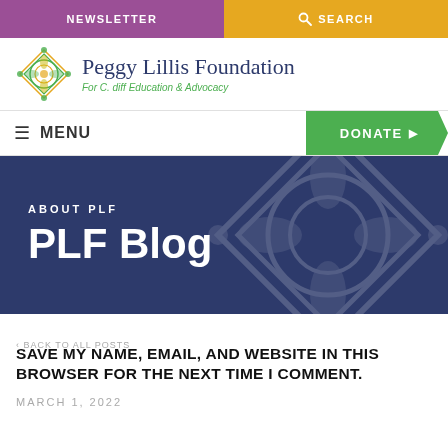NEWSLETTER | SEARCH
[Figure (logo): Peggy Lillis Foundation logo with Celtic knot design and text 'Peggy Lillis Foundation For C. diff Education & Advocacy']
≡ MENU | DONATE ▶
ABOUT PLF — PLF Blog
SAVE MY NAME, EMAIL, AND WEBSITE IN THIS BROWSER FOR THE NEXT TIME I COMMENT.
MARCH 1, 2022